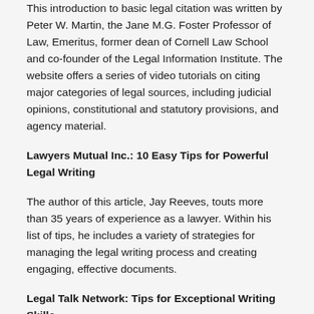This introduction to basic legal citation was written by Peter W. Martin, the Jane M.G. Foster Professor of Law, Emeritus, former dean of Cornell Law School and co-founder of the Legal Information Institute. The website offers a series of video tutorials on citing major categories of legal sources, including judicial opinions, constitutional and statutory provisions, and agency material.
Lawyers Mutual Inc.: 10 Easy Tips for Powerful Legal Writing
The author of this article, Jay Reeves, touts more than 35 years of experience as a lawyer. Within his list of tips, he includes a variety of strategies for managing the legal writing process and creating engaging, effective documents.
Legal Talk Network: Tips for Exceptional Writing Skills